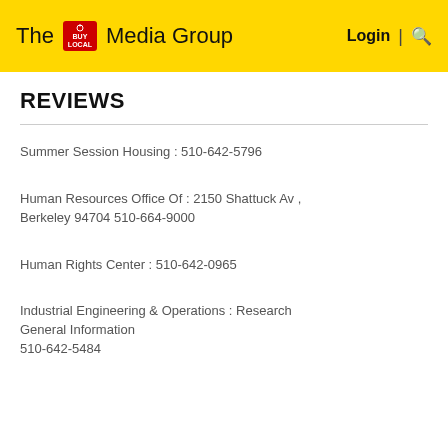The BUY LOCAL Media Group  Login | Search
REVIEWS
Summer Session Housing : 510-642-5796
Human Resources Office Of : 2150 Shattuck Av , Berkeley 94704 510-664-9000
Human Rights Center : 510-642-0965
Industrial Engineering & Operations : Research General Information
510-642-5484